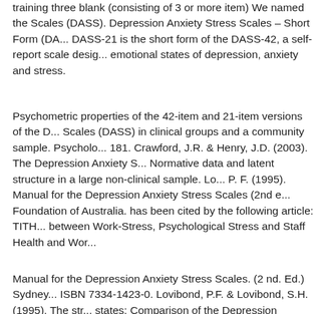training three blank (consisting of 3 or more item) We named the Scales (DASS). Depression Anxiety Stress Scales – Short Form (DA... DASS-21 is the short form of the DASS-42, a self-report scale desig... emotional states of depression, anxiety and stress.
Psychometric properties of the 42-item and 21-item versions of the D... Scales (DASS) in clinical groups and a community sample. Psycholo... 181. Crawford, J.R. & Henry, J.D. (2003). The Depression Anxiety S... Normative data and latent structure in a large non-clinical sample. Lo... P. F. (1995). Manual for the Depression Anxiety Stress Scales (2nd e... Foundation of Australia. has been cited by the following article: TITH... between Work-Stress, Psychological Stress and Staff Health and Wor...
Manual for the Depression Anxiety Stress Scales. (2 nd. Ed.) Sydney... ISBN 7334-1423-0. Lovibond, P.F. & Lovibond, S.H. (1995). The str... states: Comparison of the Depression Anxiety Stress Scales (DASS)... and Anxiety Inventories. Behaviour Research and Therapy, 33, 335-3... Stress Scales (DASS) The DASS is a 42-item self report instrument c... related negative emotional states of depression, anxiety and tension/s...